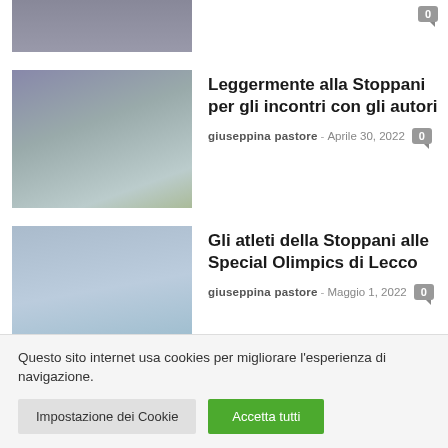[Figure (photo): Partial view of a photo showing people in a dark room/auditorium (cropped at top)]
[Figure (photo): Group of people wearing masks standing in a school room with yellow/blue wall decorations]
Leggermente alla Stoppani per gli incontri con gli autori
giuseppina pastore - Aprile 30, 2022  0
[Figure (photo): Group of people outdoors with mountains in background]
Gli atleti della Stoppani alle Special Olimpics di Lecco
giuseppina pastore - Maggio 1, 2022  0
Questo sito internet usa cookies per migliorare l'esperienza di navigazione.